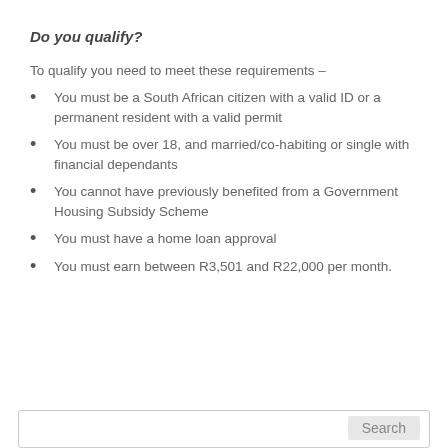Do you qualify?
To qualify you need to meet these requirements –
You must be a South African citizen with a valid ID or a permanent resident with a valid permit
You must be over 18, and married/co-habiting or single with financial dependants
You cannot have previously benefited from a Government Housing Subsidy Scheme
You must have a home loan approval
You must earn between R3,501 and R22,000 per month.